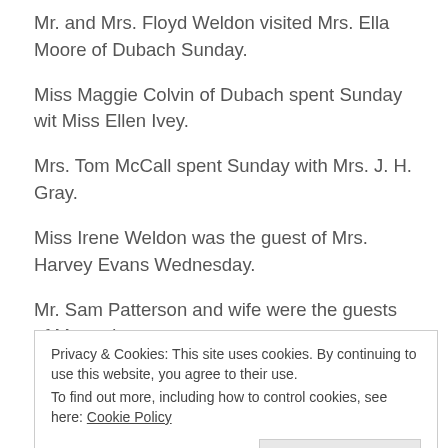Mr. and Mrs. Floyd Weldon visited Mrs. Ella Moore of Dubach Sunday.
Miss Maggie Colvin of Dubach spent Sunday wit Miss Ellen Ivey.
Mrs. Tom McCall spent Sunday with Mrs. J. H. Gray.
Miss Irene Weldon was the guest of Mrs. Harvey Evans Wednesday.
Mr. Sam Patterson and wife were the guests of Mr. and
Privacy & Cookies: This site uses cookies. By continuing to use this website, you agree to their use. To find out more, including how to control cookies, see here: Cookie Policy
good (?).